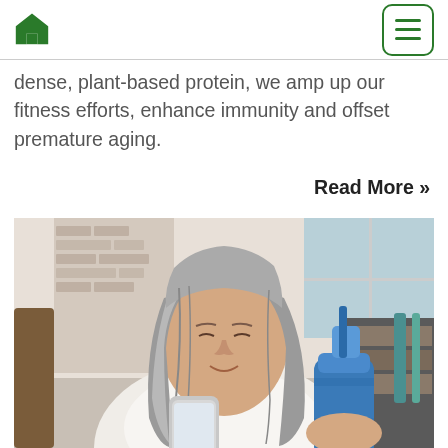Home icon and hamburger menu
dense, plant-based protein, we amp up our fitness efforts, enhance immunity and offset premature aging.
Read More »
[Figure (photo): Middle-aged woman with long grey hair wearing a white t-shirt, looking at her smartphone while holding a blue water bottle, sitting in a home interior.]